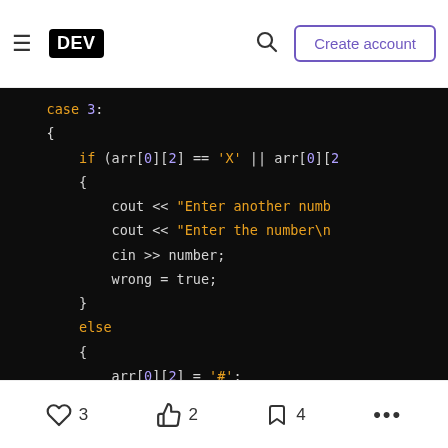DEV | Create account
[Figure (screenshot): Dark-themed code editor showing C++ switch-case code snippet with syntax highlighting. Code includes: case 3:, {, if (arr[0][2] == 'X' || arr[0][..., {, cout << "Enter another numb..., cout << "Enter the number\n..., cin >> number;, wrong = true;, }, else, {, arr[0][2] = '#';, }, break;, }]
3 likes, 2 reactions, 4 bookmarks, more options